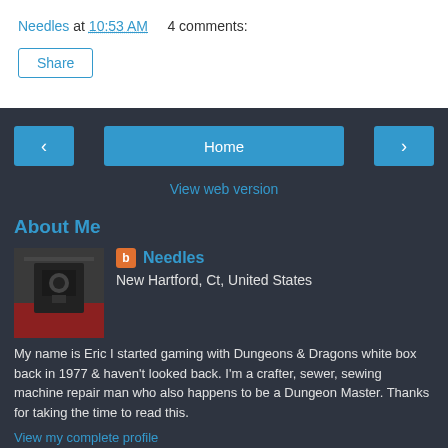Needles at 10:53 AM    4 comments:
Share
[Figure (screenshot): Navigation bar with left arrow, Home button, right arrow]
View web version
About Me
Needles
New Hartford, Ct, United States
My name is Eric I started gaming with Dungeons & Dragons white box back in 1977 & haven't looked back. I'm a crafter, sewer, sewing machine repair man who also happens to be a Dungeon Master. Thanks for taking the time to read this.
View my complete profile
Powered by Blogger.